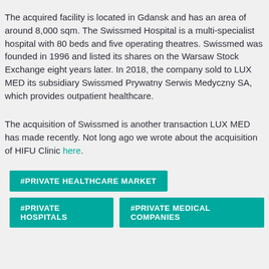The acquired facility is located in Gdansk and has an area of around 8,000 sqm. The Swissmed Hospital is a multi-specialist hospital with 80 beds and five operating theatres. Swissmed was founded in 1996 and listed its shares on the Warsaw Stock Exchange eight years later. In 2018, the company sold to LUX MED its subsidiary Swissmed Prywatny Serwis Medyczny SA, which provides outpatient healthcare.
The acquisition of Swissmed is another transaction LUX MED has made recently. Not long ago we wrote about the acquisition of HIFU Clinic here.
#PRIVATE HEALTHCARE MARKET
#PRIVATE HOSPITALS
#PRIVATE MEDICAL COMPANIES